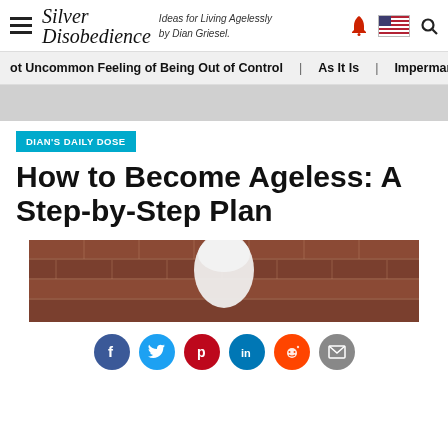Silver Disobedience — Ideas for Living Agelessly by Dian Griesel.
ot Uncommon Feeling of Being Out of Control | As It Is | Impermar
DIAN'S DAILY DOSE
How to Become Ageless: A Step-by-Step Plan
[Figure (photo): Photo of a person with white/gray hair against a brick wall background]
[Figure (other): Social sharing buttons row: Facebook, Twitter, Pinterest, LinkedIn, Reddit, Email]